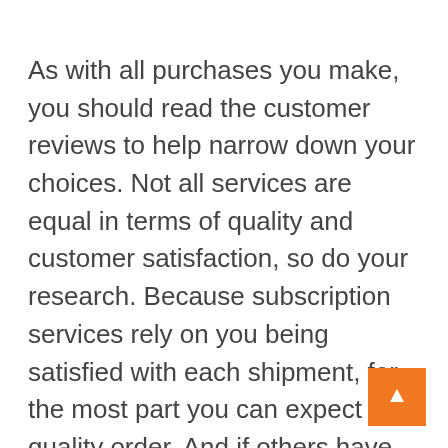As with all purchases you make, you should read the customer reviews to help narrow down your choices. Not all services are equal in terms of quality and customer satisfaction, so do your research. Because subscription services rely on you being satisfied with each shipment, for the most part you can expect a quality order. And if others have been fully satisfied with their experience, chances are you will be too.